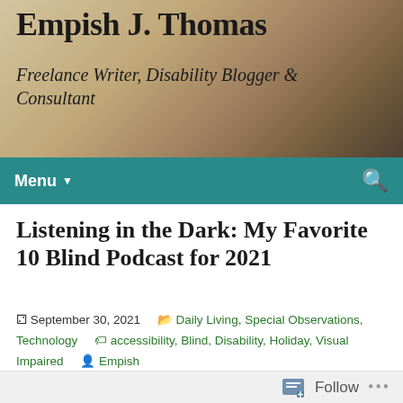Empish J. Thomas
Freelance Writer, Disability Blogger & Consultant
Menu
Listening in the Dark: My Favorite 10 Blind Podcast for 2021
September 30, 2021   Daily Living, Special Observations, Technology   accessibility, Blind, Disability, Holiday, Visual Impaired   Empish
[Figure (photo): Partial view of a light-colored textured surface or photograph, beige and tan tones]
Follow